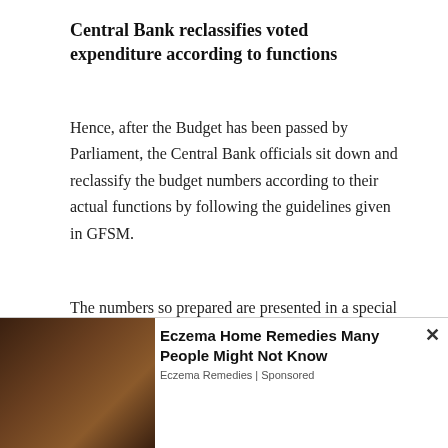Central Bank reclassifies voted expenditure according to functions
Hence, after the Budget has been passed by Parliament, the Central Bank officials sit down and reclassify the budget numbers according to their actual functions by following the guidelines given in GFSM.
The numbers so prepared are presented in a special table in the Central Bank annual report under the heading ‘functional classification of the government expenditure’. Until this table is published, no one can make an accurate
[Figure (other): Partially visible advertisement banner for PokemonGO game with colorful gradient background]
[Figure (other): Advertisement for Eczema Home Remedies with image of food item on wooden spoon. Text: Eczema Home Remedies Many People Might Not Know. Source: Eczema Remedies | Sponsored]